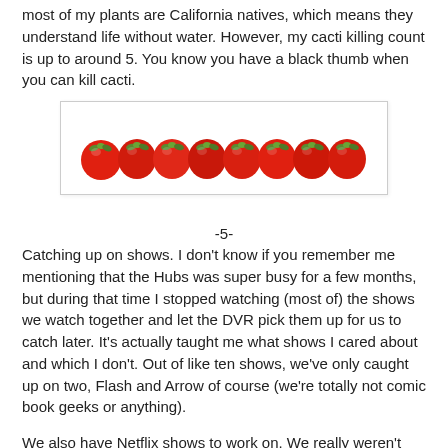most of my plants are California natives, which means they understand life without water.  However, my cacti killing count is up to around 5.  You know you have a black thumb when you can kill cacti.
[Figure (photo): A row of red cherry tomatoes lined up on a white background, displayed inside a light-bordered box.]
-5-
Catching up on shows. I don't know if you remember me mentioning that the Hubs was super busy for a few months, but during that time I stopped watching (most of) the shows we watch together and let the DVR pick them up for us to catch later. It's actually taught me what shows I cared about and which I don't.  Out of like ten shows, we've only caught up on two, Flash and Arrow of course (we're totally not comic book geeks or anything).
We also have Netflix shows to work on. We really weren't fans of the new season of House of Cards. Even besides the